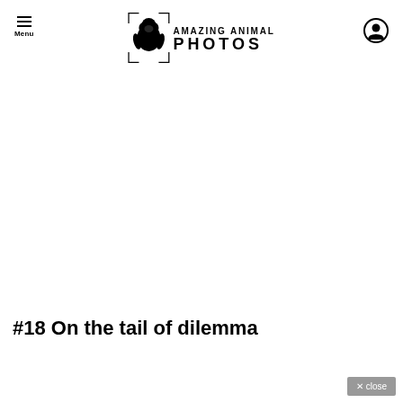AMAZING ANIMAL PHOTOS
#18 On the tail of dilemma
✕ close